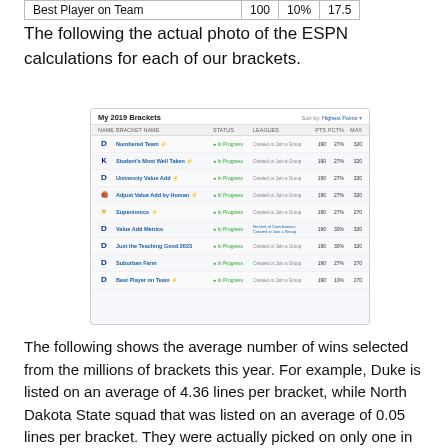|  | 100 | 10% | 17.5 |
| --- | --- | --- | --- |
| Best Player on Team | 100 | 10% | 17.5 |
The following the actual photo of the ESPN calculations for each of our brackets.
[Figure (screenshot): Screenshot of ESPN My 2019 Brackets page showing a list of brackets with columns for Name, Bracket Name, Status, Leagues, PTS, PCT%, and MAX. Multiple brackets listed with Duke and Kentucky logos, all showing In Progress status.]
The following shows the average number of wins selected from the millions of brackets this year. For example, Duke is listed on an average of 4.36 lines per bracket, while North Dakota State squad that was listed on an average of 0.05 lines per bracket. They were actually picked on only one in 40 brackets to win the first game, but then a few picked them to go deeper into the tournament.